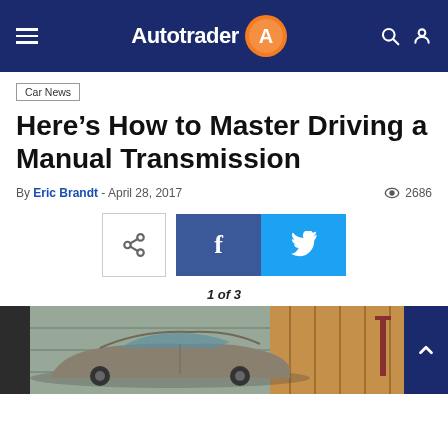Autotrader
Car News
Here’s How to Master Driving a Manual Transmission
By Eric Brandt - April 28, 2017  ◉ 2686
[Figure (screenshot): Share buttons: generic share icon, Facebook button, Twitter button]
1 of 3
[Figure (photo): A car in a garage, partial view of a sedan with garage interior and tools in background]